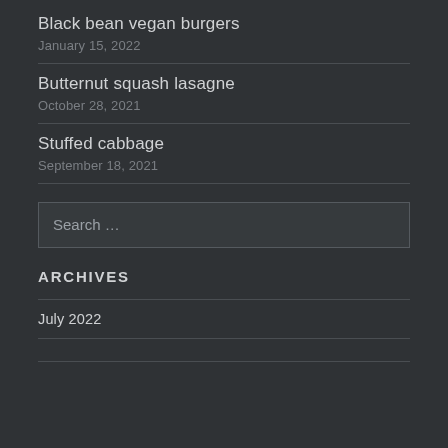Black bean vegan burgers
January 15, 2022
Butternut squash lasagne
October 28, 2021
Stuffed cabbage
September 18, 2021
ARCHIVES
July 2022